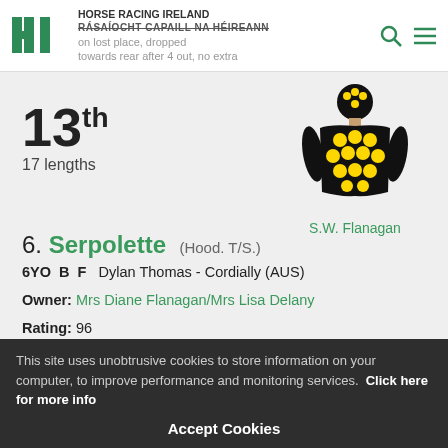HORSE RACING IRELAND / RÁSAÍOCHT CAPAILL NA HÉIREANN — soon lost place, dropped towards rear after 4 out, no extra
13th
17 lengths
[Figure (illustration): Jockey silks illustration: black outfit with yellow polka dots, black helmet with yellow dots]
S.W. Flanagan
6. Serpolette (Hood. T/S.) 6YO B F Dylan Thomas - Cordially (AUS)
Owner: Mrs Diane Flanagan/Mrs Lisa Delany
Rating: 96
This site uses unobtrusive cookies to store information on your computer, to improve performance and monitoring services. Click here for more info
Accept Cookies